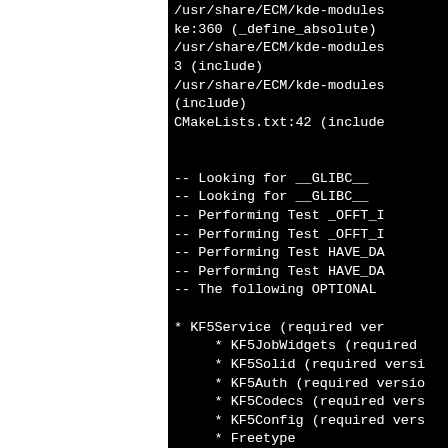/usr/share/ECM/kde-modules ke:360 (_define_absolute) /usr/share/ECM/kde-modules 3 (include) /usr/share/ECM/kde-modules (include) CMakeLists.txt:42 (include

-- Looking for __GLIBC__
-- Looking for __GLIBC__ 
-- Performing Test _OFFT_I
-- Performing Test _OFFT_I
-- Performing Test HAVE_DA
-- Performing Test HAVE_DA
-- The following OPTIONAL

* KF5Service (required ver
     * KF5JobWidgets (required
     * KF5Solid (required versi
     * KF5Auth (required versio
     * KF5Codecs (required vers
     * KF5Config (required vers
     * Freetype